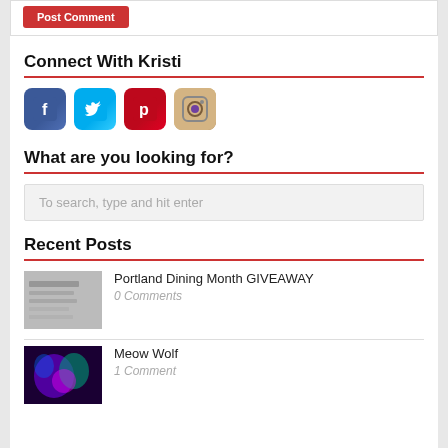Connect With Kristi
[Figure (logo): Social media icons: Facebook, Twitter, Pinterest, Instagram]
What are you looking for?
To search, type and hit enter
Recent Posts
Portland Dining Month GIVEAWAY
0 Comments
Meow Wolf
1 Comment